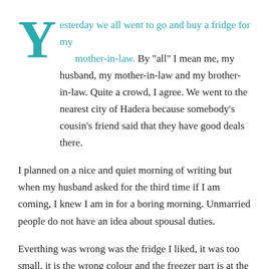Yesterday we all went to go and buy a fridge for my mother-in-law. By "all" I mean me, my husband, my mother-in-law and my brother-in-law. Quite a crowd, I agree. We went to the nearest city of Hadera because somebody's cousin's friend said that they have good deals there.
I planned on a nice and quiet morning of writing but when my husband asked for the third time if I am coming, I knew I am in for a boring morning. Unmarried people do not have an idea about spousal duties.
Everthing was wrong was the fridge I liked, it was too small, it is the wrong colour and the freezer part is at the bottom, not the top. Whatever, it is not my fridge. The